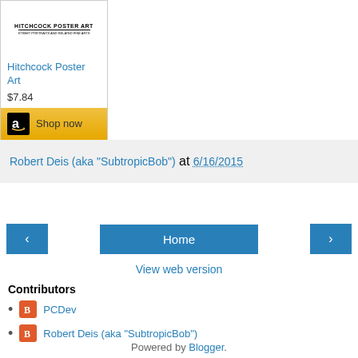[Figure (other): Amazon product widget showing Hitchcock Poster Art book with price $7.84 and Shop now button]
Robert Deis (aka "SubtropicBob") at 6/16/2015
< Home >
View web version
Contributors
PCDev
Robert Deis (aka "SubtropicBob")
Powered by Blogger.